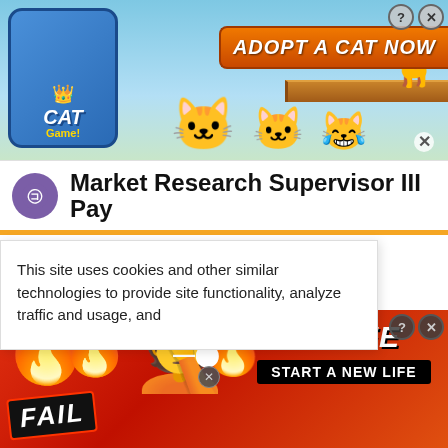[Figure (screenshot): Cat Game mobile app advertisement banner with cartoon cats, wood shelf, blue sky background, and orange 'ADOPT A CAT NOW' button. Help (?) and X close buttons in top right corner.]
Market Research Supervisor III Pay
This site uses cookies and other similar technologies to provide site functionality, analyze traffic and usage, and
[Figure (screenshot): BitLife mobile game advertisement banner with 'FAIL' sticker, fire/flame graphics, facepalm emoji, sperm graphic, 'BitLIFE' logo in orange, and 'START A NEW LIFE' black button. Close (X) and help (?) buttons visible.]